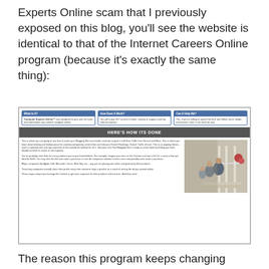Experts Online scam that I previously exposed on this blog, you’ll see the website is identical to that of the Internet Careers Online program (because it’s exactly the same thing):
[Figure (screenshot): Screenshot of a website page showing 'Computer Experts Online' with three info boxes at the top (What Is It?, How Does It Work?, Can It Help Me?), a dark banner reading 'HERE'S HOW ITS DONE', body text about blogging and affiliate marketing, and a photo of a family sitting on a porch.]
The reason this program keeps changing